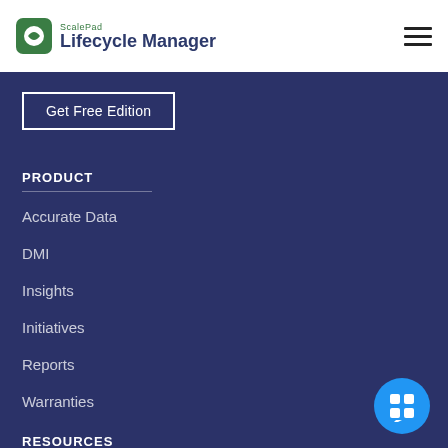ScalePad Lifecycle Manager
Get Free Edition
PRODUCT
Accurate Data
DMI
Insights
Initiatives
Reports
Warranties
RESOURCES
Help Center
Product Updates
Resource Library